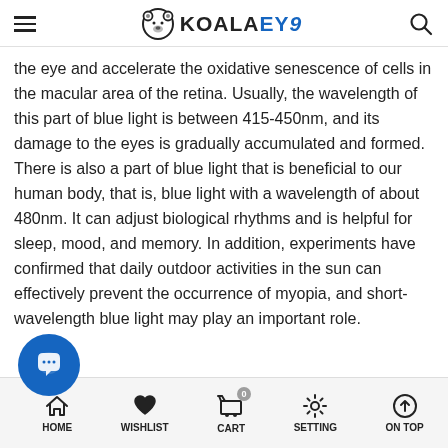KOALAEYE (logo with hamburger menu and search icon)
the eye and accelerate the oxidative senescence of cells in the macular area of the retina. Usually, the wavelength of this part of blue light is between 415-450nm, and its damage to the eyes is gradually accumulated and formed. There is also a part of blue light that is beneficial to our human body, that is, blue light with a wavelength of about 480nm. It can adjust biological rhythms and is helpful for sleep, mood, and memory. In addition, experiments have confirmed that daily outdoor activities in the sun can effectively prevent the occurrence of myopia, and short-wavelength blue light may play an important role.
HOME | WISHLIST | CART | SETTING | ON TOP